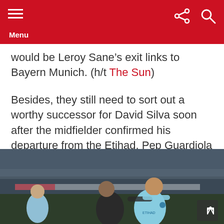Menu
would be Leroy Sane’s exit links to Bayern Munich. (h/t The Sun)
Besides, they still need to sort out a worthy successor for David Silva soon after the midfielder confirmed his departure from the Etihad. Pep Guardiola has to deal with both issues in due time as the transfer window reaches its final week.
[Figure (photo): Two football players competing for the ball during a match. One player in a dark kit and one in a light blue Manchester City kit (Leroy Sane). Additional players visible in the background.]